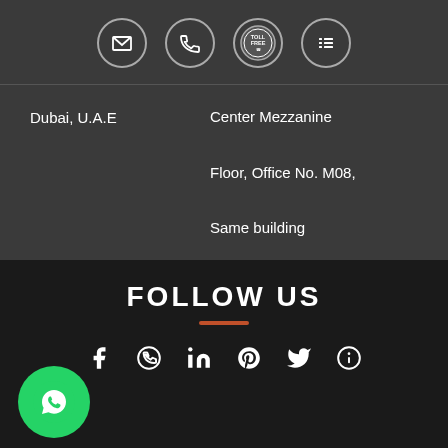[Figure (infographic): Icon bar with four circular icons: email envelope, phone, toll free globe badge, and list/menu icon]
Dubai, U.A.E
Center Mezzanine Floor, Office No. M08, Same building Shawarma Times - Abu Dhabi
FOLLOW US
[Figure (infographic): Social media icons row: Facebook, WhatsApp, LinkedIn, Pinterest, Twitter, Info/Badoo. Green WhatsApp floating button on left.]
© Copyright 2007 - 2022 Al Saeid Insurance